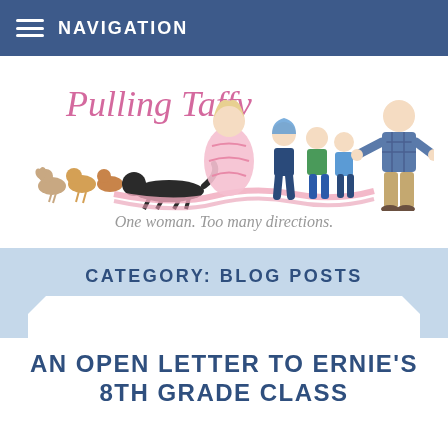NAVIGATION
[Figure (illustration): Pulling Taffy blog header illustration showing a woman wrapped in pink taffy being pulled by children and dogs, with a man in plaid shirt standing to the right. Logo text reads 'Pulling Taffy' in pink cursive.]
One woman. Too many directions.
CATEGORY: BLOG POSTS
AN OPEN LETTER TO ERNIE'S 8TH GRADE CLASS